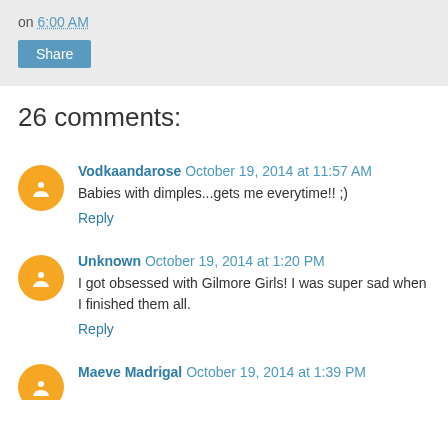on 6:00 AM
Share
26 comments:
Vodkaandarose October 19, 2014 at 11:57 AM
Babies with dimples...gets me everytime!! ;)
Reply
Unknown October 19, 2014 at 1:20 PM
I got obsessed with Gilmore Girls! I was super sad when I finished them all.
Reply
Maeve Madrigal October 19, 2014 at 1:39 PM